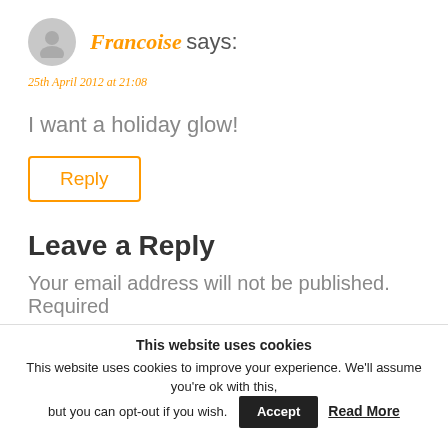Francoise says:
25th April 2012 at 21:08
I want a holiday glow!
Reply
Leave a Reply
Your email address will not be published. Required
This website uses cookies
This website uses cookies to improve your experience. We'll assume you're ok with this, but you can opt-out if you wish.
Accept
Read More